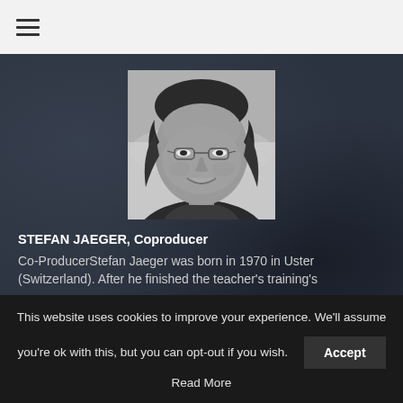≡
[Figure (photo): Black and white portrait photo of Stefan Jaeger, a man with shoulder-length hair and glasses, smiling, wearing a dark t-shirt and jacket.]
STEFAN JAEGER, Coproducer
Co-ProducerStefan Jaeger was born in 1970 in Uster (Switzerland). After he finished the teacher's training's
This website uses cookies to improve your experience. We'll assume you're ok with this, but you can opt-out if you wish.
Accept
Read More